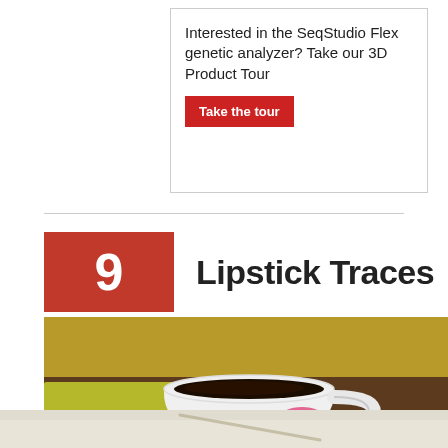Interested in the SeqStudio Flex genetic analyzer? Take our 3D Product Tour
Take the tour
9  Lipstick Traces
[Figure (photo): A white coffee cup with a pink lipstick print on it, sitting on a white saucer with a spoon, on a yellow-green napkin, against a golden/olive background.]
[Figure (photo): Partial bottom portion of another image, light/white tones, partially visible.]